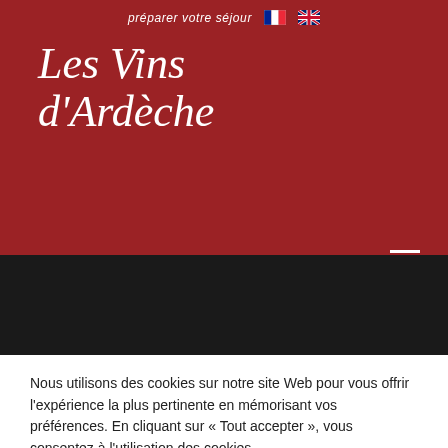préparer votre séjour
Les Vins d'Ardèche
[Figure (photo): Dark/black image area representing a hero banner photograph]
Nous utilisons des cookies sur notre site Web pour vous offrir l'expérience la plus pertinente en mémorisant vos préférences. En cliquant sur « Tout accepter », vous consentez à l'utilisation des cookies.
Accepter   Rejeter   Politique de confidentialité